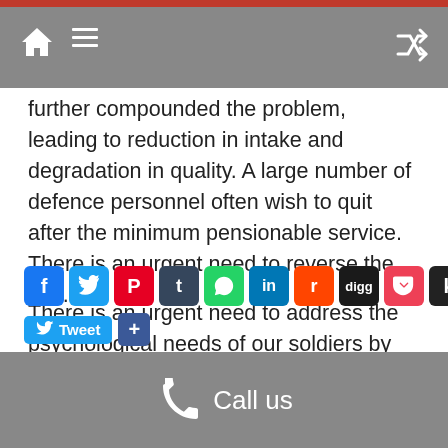Navigation bar with home, menu, and shuffle icons
further compounded the problem, leading to reduction in intake and degradation in quality. A large number of defence personnel often wish to quit after the minimum pensionable service. There is an urgent need to reverse the tide.
There is an urgent need to address the psychological needs of our soldiers by our policymakers and politicians. A step in this direction will be the best tribute to our soldiers on Army Day.
[Figure (screenshot): Social media sharing icons row: Facebook, Twitter, Pinterest, Tumblr, WhatsApp, LinkedIn, Reddit, Digg, Pocket, Kl, Gmail; Tweet button and Share button below]
Call us